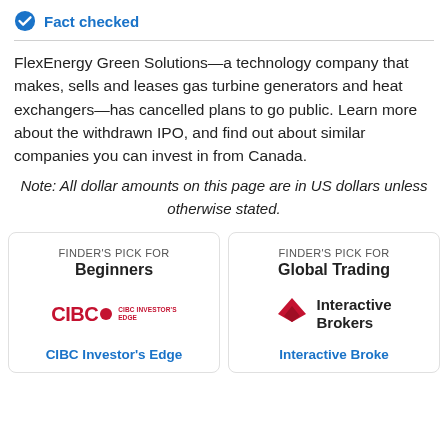Fact checked
FlexEnergy Green Solutions—a technology company that makes, sells and leases gas turbine generators and heat exchangers—has cancelled plans to go public. Learn more about the withdrawn IPO, and find out about similar companies you can invest in from Canada.
Note: All dollar amounts on this page are in US dollars unless otherwise stated.
[Figure (logo): CIBC Investor's Edge logo with CIBC text in red and a red circle, plus small text 'CIBC INVESTOR'S EDGE']
FINDER'S PICK FOR Beginners
CIBC Investor's Edge
[Figure (logo): Interactive Brokers logo with red angular shape and black text 'Interactive Brokers']
FINDER'S PICK FOR Global Trading
Interactive Brokers